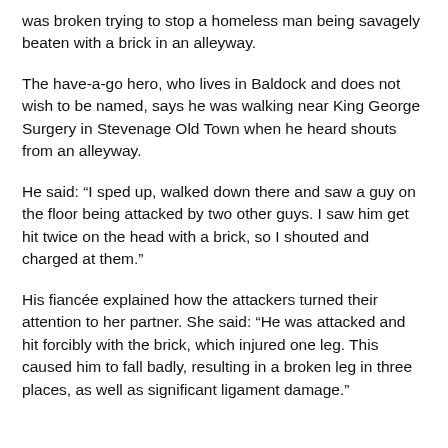was broken trying to stop a homeless man being savagely beaten with a brick in an alleyway.
The have-a-go hero, who lives in Baldock and does not wish to be named, says he was walking near King George Surgery in Stevenage Old Town when he heard shouts from an alleyway.
He said: “I sped up, walked down there and saw a guy on the floor being attacked by two other guys. I saw him get hit twice on the head with a brick, so I shouted and charged at them.”
His fiancée explained how the attackers turned their attention to her partner. She said: “He was attacked and hit forcibly with the brick, which injured one leg. This caused him to fall badly, resulting in a broken leg in three places, as well as significant ligament damage.”